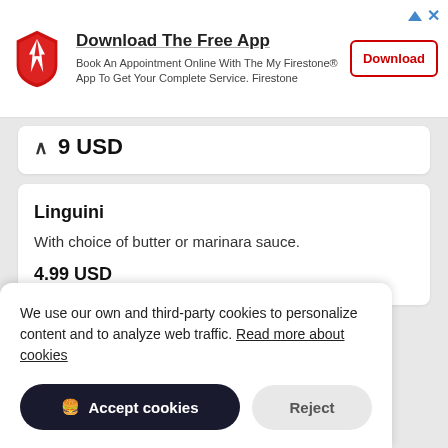[Figure (other): Firestone app advertisement banner with shield logo, showing 'Download The Free App' heading, subtitle text, and a Download button]
9 USD
Linguini
With choice of butter or marinara sauce.
4.99 USD
We use our own and third-party cookies to personalize content and to analyze web traffic. Read more about cookies
Accept cookies
Reject